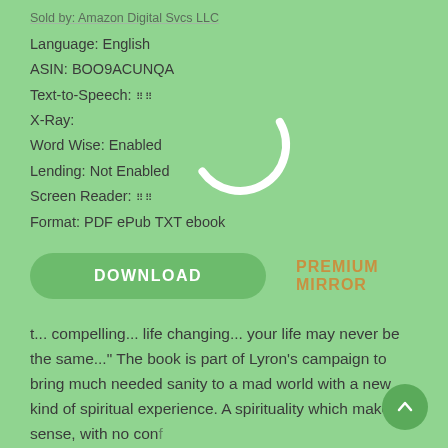Sold by: Amazon Digital Svcs LLC
Language: English
ASIN: BOO9ACUNQA
Text-to-Speech: ::::
X-Ray:
Word Wise: Enabled
Lending: Not Enabled
Screen Reader: ::::
Format: PDF ePub TXT ebook
[Figure (other): Loading spinner/circle arc icon overlay]
DOWNLOAD
PREMIUM MIRROR
t... compelling... life changing... your life may never be the same..." The book is part of Lyron's campaign to bring much needed sanity to a mad world with a new kind of spiritual experience. A spirituality which makes sense, with no conflict with science and reality, bringing meaning to life and inspiring